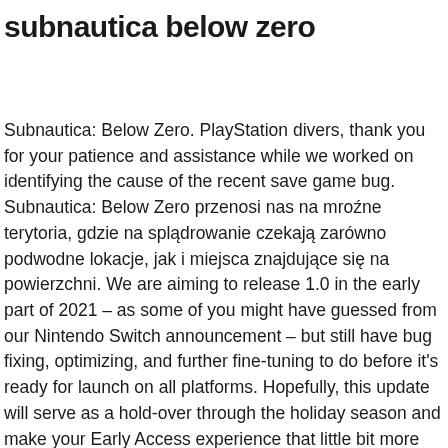subnautica below zero
Subnautica: Below Zero. PlayStation divers, thank you for your patience and assistance while we worked on identifying the cause of the recent save game bug. Subnautica: Below Zero przenosi nas na mroźne terytoria, gdzie na splądrowanie czekają zarówno podwodne lokacje, jak i miejsca znajdujące się na powierzchni. We are aiming to release 1.0 in the early part of 2021 – as some of you might have guessed from our Nintendo Switch announcement – but still have bug fixing, optimizing, and further fine-tuning to do before it's ready for launch on all platforms. Hopefully, this update will serve as a hold-over through the holiday season and make your Early Access experience that little bit more polished! When built, the Coffee Vending Machine will say "You look like you could use some coffee." Up-to-date interactive Subnautica and Subnautica: Below Zero map of biomes, resources, lifepods, wrecks and all the other points of interests and collectibles. Dive Into a Vast Underwater World Watch out! Below Zero jest samodzielnym rozszerzeniem, więc nie wymaga do działania podstawowej wersji gry